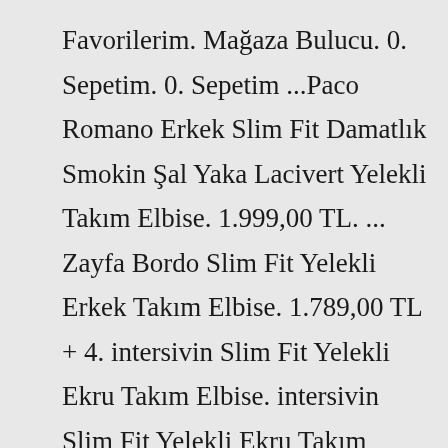Favorilerim. Mağaza Bulucu. 0. Sepetim. 0. Sepetim ...Paco Romano Erkek Slim Fit Damatlık Smokin Şal Yaka Lacivert Yelekli Takım Elbise. 1.999,00 TL. ... Zayfa Bordo Slim Fit Yelekli Erkek Takım Elbise. 1.789,00 TL + 4. intersivin Slim Fit Yelekli Ekru Takım Elbise. intersivin Slim Fit Yelekli Ekru Takım Elbise ... Gömlek. Klasik Gömlek. Kısa Kollu; Uzun Kollu; Kısa Kollu Slim Fit Gömlek; Slim Fit